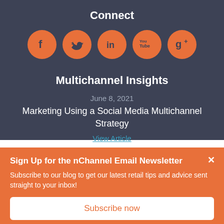Connect
[Figure (infographic): Five orange circular social media icons: Facebook (f), Twitter (bird), LinkedIn (in), YouTube (You Tube), Google+ (g+)]
Multichannel Insights
June 8, 2021
Marketing Using a Social Media Multichannel Strategy
View Article
Sign Up for the nChannel Email Newsletter
Subscribe to our blog to get our latest retail tips and advice sent straight to your inbox!
Subscribe now